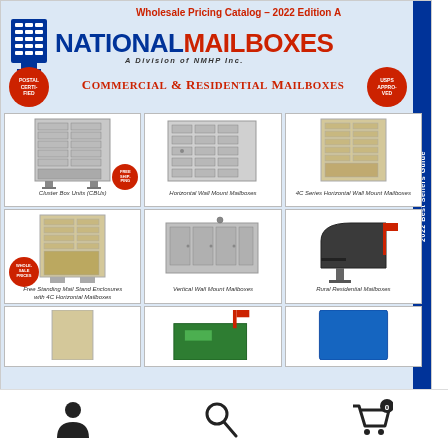Wholesale Pricing Catalog – 2022 Edition A
NATIONAL MAILBOXES – A Division of NMHP Inc.
Commercial & Residential Mailboxes
[Figure (photo): Catalog cover page showing 6 product photos: Cluster Box Units (CBUs), Horizontal Wall Mount Mailboxes, 4C Series Horizontal Wall Mount Mailboxes, Free Standing Mail Stand Enclosures with 4C Horizontal Mailboxes, Vertical Wall Mount Mailboxes, Rural Residential Mailboxes, and partially visible bottom row products.]
Cluster Box Units (CBUs)
Horizontal Wall Mount Mailboxes
4C Series Horizontal Wall Mount Mailboxes
Free Standing Mail Stand Enclosures with 4C Horizontal Mailboxes
Vertical Wall Mount Mailboxes
Rural Residential Mailboxes